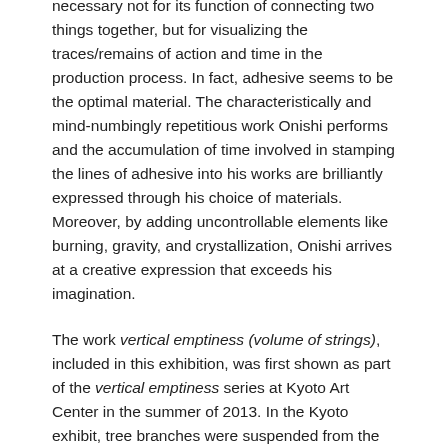necessary not for its function of connecting two things together, but for visualizing the traces/remains of action and time in the production process. In fact, adhesive seems to be the optimal material. The characteristically and mind-numbingly repetitious work Onishi performs and the accumulation of time involved in stamping the lines of adhesive into his works are brilliantly expressed through his choice of materials. Moreover, by adding uncontrollable elements like burning, gravity, and crystallization, Onishi arrives at a creative expression that exceeds his imagination.
The work vertical emptiness (volume of strings), included in this exhibition, was first shown as part of the vertical emptiness series at Kyoto Art Center in the summer of 2013. In the Kyoto exhibit, tree branches were suspended from the ceiling with transparent adhesive hanging down from them to make a connection with the ground. The urea sprayed over the structure crystalized and created a white world resembling a snowscape. In the massive vertical emptiness (volume of strings) in this exhibition, transparent adhesive droops down to cover